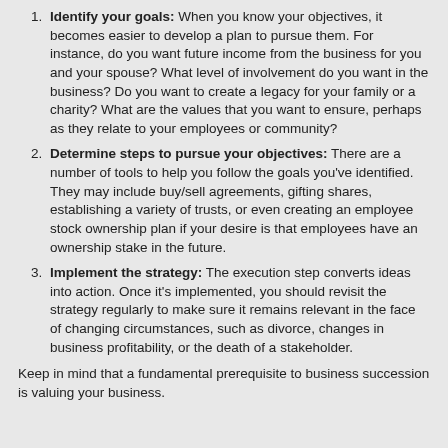Identify your goals: When you know your objectives, it becomes easier to develop a plan to pursue them. For instance, do you want future income from the business for you and your spouse? What level of involvement do you want in the business? Do you want to create a legacy for your family or a charity? What are the values that you want to ensure, perhaps as they relate to your employees or community?
Determine steps to pursue your objectives: There are a number of tools to help you follow the goals you've identified. They may include buy/sell agreements, gifting shares, establishing a variety of trusts, or even creating an employee stock ownership plan if your desire is that employees have an ownership stake in the future.
Implement the strategy: The execution step converts ideas into action. Once it's implemented, you should revisit the strategy regularly to make sure it remains relevant in the face of changing circumstances, such as divorce, changes in business profitability, or the death of a stakeholder.
Keep in mind that a fundamental prerequisite to business succession is valuing your business.